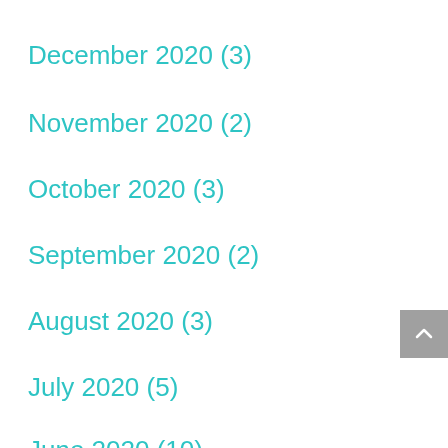December 2020 (3)
November 2020 (2)
October 2020 (3)
September 2020 (2)
August 2020 (3)
July 2020 (5)
June 2020 (10)
April 2020 (1)